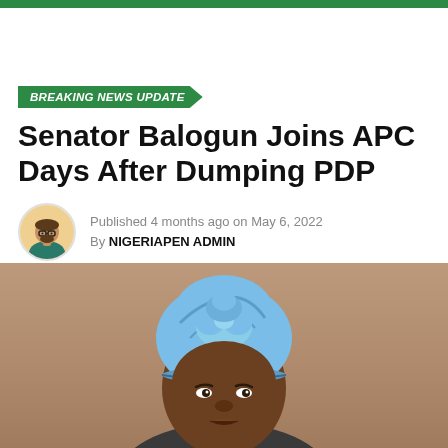BREAKING NEWS UPDATE
Senator Balogun Joins APC Days After Dumping PDP
Published 4 months ago on May 6, 2022
By NIGERIAPEN ADMIN
[Figure (photo): Photo of Senator Balogun wearing a light blue traditional Nigerian cap (fila/agbada headwear), cropped portrait on a tan/brown background]